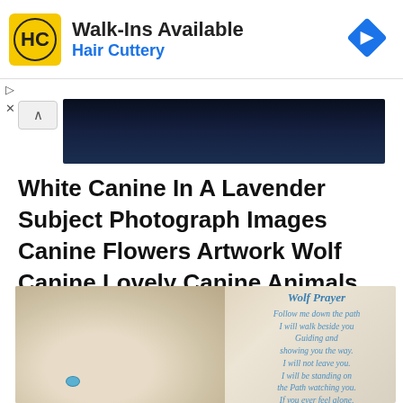[Figure (screenshot): Hair Cuttery advertisement banner: yellow HC logo, Walk-Ins Available heading, Hair Cuttery subheading in blue, blue diamond navigation arrow on right]
[Figure (photo): Dark photo strip showing partial dark image with wolf/animal silhouette]
White Canine In A Lavender Subject Photograph Images Canine Flowers Artwork Wolf Canine Lovely Canine Animals Lovely
[Figure (photo): White wolf with blue eyes, with Wolf Prayer text overlay reading: Follow me down the path I will walk beside you Guiding and showing you the way. I will not leave you. I will be standing on the Path watching you. If you ever feel alone, close your eyes. You will see 6 footprints.]